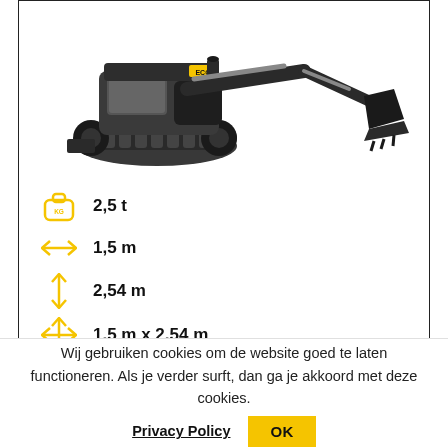[Figure (photo): Yellow and black mini excavator / compact tracked excavator shown on white background, viewed from side-front angle with bucket arm extended to the right.]
2,5 t
1,5 m
2,54 m
1,5 m x 2,54 m
HUREN VANAF € 110
Wij gebruiken cookies om de website goed te laten functioneren. Als je verder surft, dan ga je akkoord met deze cookies.
Privacy Policy
OK